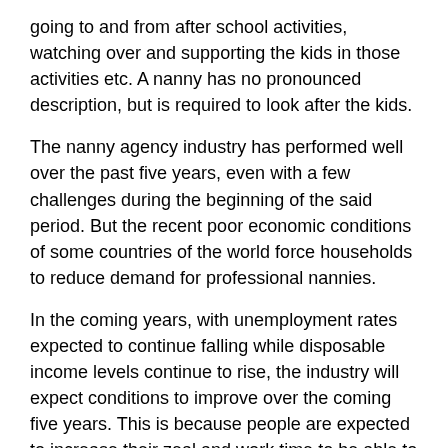going to and from after school activities, watching over and supporting the kids in those activities etc. A nanny has no pronounced description, but is required to look after the kids.
The nanny agency industry has performed well over the past five years, even with a few challenges during the beginning of the said period. But the recent poor economic conditions of some countries of the world force households to reduce demand for professional nannies.
In the coming years, with unemployment rates expected to continue falling while disposable income levels continue to rise, the industry will expect conditions to improve over the coming five years. This is because people are expected to increase their zeal and work time to be able to make more money, leaving their kids in the care of a nanny.
A nanny agency is an easy business anyone can start, as long as you have the relevant passion, training and funding. As the quest to make more money increases with parents, then the need for nanny agencies to help with placing nannies also heightens. That is why investors are starting to invest on the